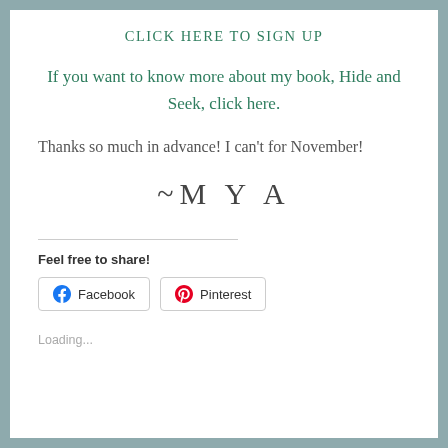CLICK HERE TO SIGN UP
If you want to know more about my book, Hide and Seek, click here.
Thanks so much in advance! I can't for November!
~M Y A
Feel free to share!
[Figure (other): Facebook and Pinterest share buttons]
Loading...